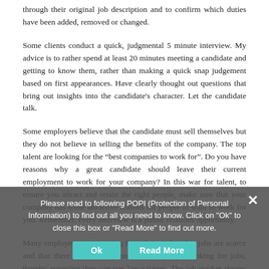through their original job description and to confirm which duties have been added, removed or changed.
Some clients conduct a quick, judgmental 5 minute interview. My advice is to rather spend at least 20 minutes meeting a candidate and getting to know them, rather than making a quick snap judgement based on first appearances. Have clearly thought out questions that bring out insights into the candidate's character. Let the candidate talk.
Some employers believe that the candidate must sell themselves but they do not believe in selling the benefits of the company. The top talent are looking for the “best companies to work for". Do you have reasons why a great candidate should leave their current employment to work for your company? In this war for talent, to ensure you attract and retain the right people, make sure that your company has some attractive reasons for people to want to work for you. Remember, every interview is a public relations opportunity.
Many employers are operating from the mindset that jobs are scarce and that there are so many unemployed people looking for jobs, thereby assuming they can pay low salaries. The job market always operates on the principle of “if you pay peanuts...
Please read to following POPI (Protection of Personal Information) to find out all you need to know. Click on "Ok" to close this box or "Read More" to find out more.